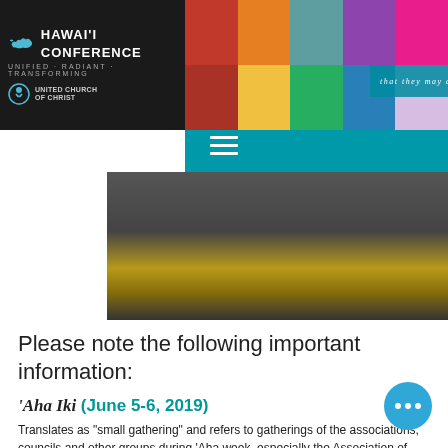[Figure (screenshot): Hawaii Conference United Church of Christ website header with logo, photo collage, teal navigation bar with hamburger menu, and hero image with gold/yellow stripe]
Please note the following important information:
'Aha Iki (June 5-6, 2019)
Translates as "small gathering" and refers to gatherings of the associations, councils and other groups during 'Aha week, especially the Association of Hawaiian Evangelical Churches (AHEC) and State Council of Hawaiian Congregational Church